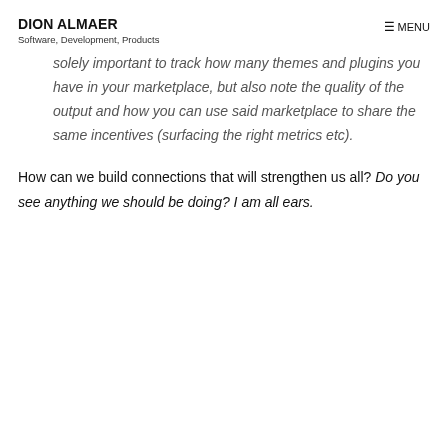DION ALMAER
Software, Development, Products
solely important to track how many themes and plugins you have in your marketplace, but also note the quality of the output and how you can use said marketplace to share the same incentives (surfacing the right metrics etc).
How can we build connections that will strengthen us all? Do you see anything we should be doing? I am all ears.